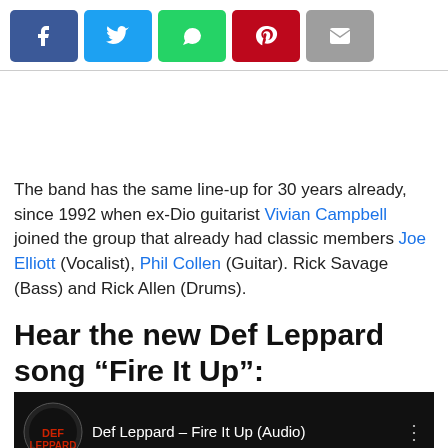[Figure (other): Social share buttons: Facebook (blue), Twitter (cyan), WhatsApp (green), Pinterest (red), Email (grey)]
The band has the same line-up for 30 years already, since 1992 when ex-Dio guitarist Vivian Campbell joined the group that already had classic members Joe Elliott (Vocalist), Phil Collen (Guitar). Rick Savage (Bass) and Rick Allen (Drums).
Hear the new Def Leppard song “Fire It Up”:
[Figure (screenshot): YouTube video thumbnail for Def Leppard - Fire It Up (Audio) showing band logo, title text on dark background with fire graphics at bottom]